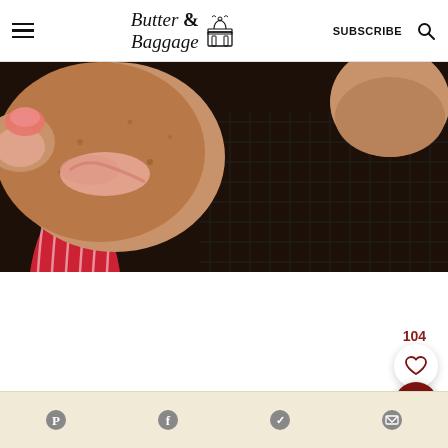Butter & Baggage — SUBSCRIBE
[Figure (photo): Close-up photo of strawberry muffins in red striped cupcake liners on a wire cooling rack against a dark background]
104
[Figure (other): Heart/favorite button (white circle) and search button (dark red circle) on right side]
[Figure (other): Bottom share bar with Pinterest, Facebook, Twitter, and email/share icons on cream/tan background]